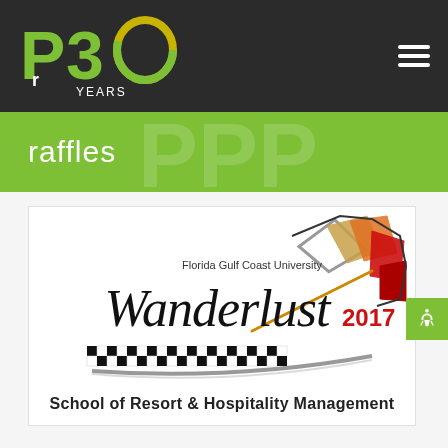P30 Years
raffles
[Figure (logo): Florida Gulf Coast University Wanderlust 2017 - School of Resort & Hospitality Management event logo with checkered flag and speedometer graphic elements]